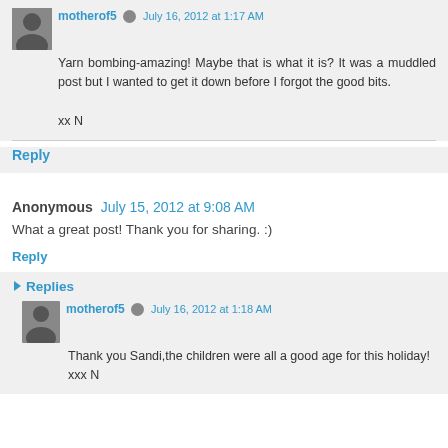motherof5 July 16, 2012 at 1:17 AM
Yarn bombing-amazing! Maybe that is what it is? It was a muddled post but I wanted to get it down before I forgot the good bits.

xx N
Reply
Anonymous July 15, 2012 at 9:08 AM
What a great post! Thank you for sharing. :)
Reply
Replies
motherof5 July 16, 2012 at 1:18 AM
Thank you Sandi,the children were all a good age for this holiday!
xxx N